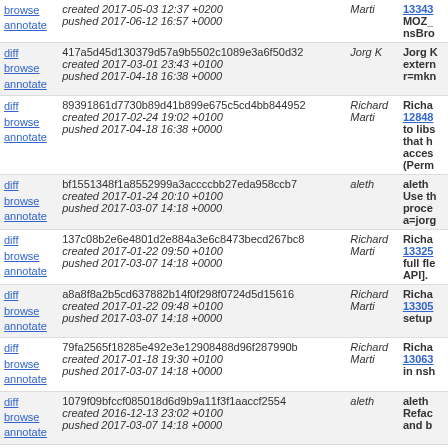| Actions | Hash/Date | Author | Description |
| --- | --- | --- | --- |
| browse
annotate | created 2017-05-03 12:37 +0200
pushed 2017-06-12 16:57 +0000 | Marti | 13343...
MOZ_...
nsBro... |
| diff
browse
annotate | 417a5d45d130379d57a9b5502c1089e3a6f50d32
created 2017-03-01 23:43 +0100
pushed 2017-04-18 16:38 +0000 | Jorg K | Jorg K...
extern...
r=mkn... |
| diff
browse
annotate | 89391861d7730b89d41b899e675c5cd4bb844952
created 2017-02-24 19:02 +0100
pushed 2017-04-18 16:38 +0000 | Richard Marti | Richa...
128488...
to libs...
that h...
access...
(Perm... |
| diff
browse
annotate | bf1551348f1a8552999a3accccbb27eda958ccb7
created 2017-01-24 20:10 +0100
pushed 2017-03-07 14:18 +0000 | aleth | aleth...
Use th...
proce...
a=jorg... |
| diff
browse
annotate | 137c08b2e6e4801d2e884a3e6c8473becd267bc8
created 2017-01-22 09:50 +0100
pushed 2017-03-07 14:18 +0000 | Richard Marti | Richa...
133255...
full fle...
API]. |
| diff
browse
annotate | a8a8f8a2b5cd637882b14f0f298f0724d5d15616
created 2017-01-22 09:48 +0100
pushed 2017-03-07 14:18 +0000 | Richard Marti | Richa...
13305...
setup... |
| diff
browse
annotate | 79fa2565f18285e492e3e12908488d96f287990b
created 2017-01-18 19:30 +0100
pushed 2017-03-07 14:18 +0000 | Richard Marti | Richa...
13063...
in nsh... |
| diff
browse
annotate | 1079f09bfccf085018d6d9b9a11f3f1aaccf2554
created 2016-12-13 23:02 +0100
pushed 2017-03-07 14:18 +0000 | aleth | aleth...
Refac...
and b... |